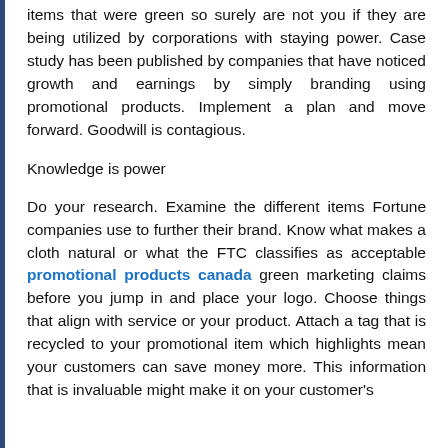items that were green so surely are not you if they are being utilized by corporations with staying power. Case study has been published by companies that have noticed growth and earnings by simply branding using promotional products. Implement a plan and move forward. Goodwill is contagious.
Knowledge is power
Do your research. Examine the different items Fortune companies use to further their brand. Know what makes a cloth natural or what the FTC classifies as acceptable promotional products canada green marketing claims before you jump in and place your logo. Choose things that align with service or your product. Attach a tag that is recycled to your promotional item which highlights mean your customers can save money more. This information that is invaluable might make it on your customer's